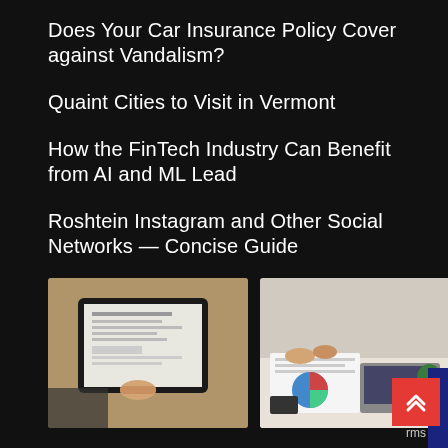Does Your Car Insurance Policy Cover against Vandalism?
Quaint Cities to Visit in Vermont
How the FinTech Industry Can Benefit from AI and ML Lead
Roshtein Instagram and Other Social Networks — Concise Guide
[Figure (photo): Person pointing at a document on a tablet screen]
[Figure (photo): People reviewing charts and documents on a desk with laptop]
[Figure (illustration): FinTech infographic with rocket, lightbulb, people and bar charts]